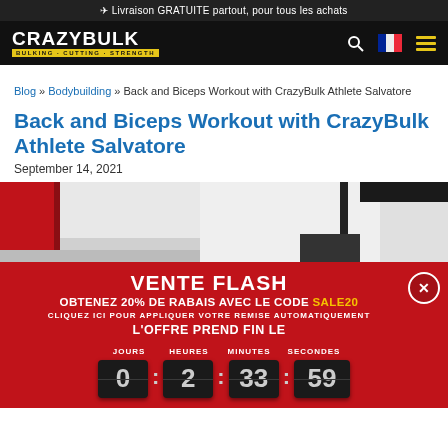✈ Livraison GRATUITE partout, pour tous les achats
[Figure (logo): CrazyBulk logo with tagline BULKING · CUTTING · STRENGTH in yellow bar]
Blog » Bodybuilding » Back and Biceps Workout with CrazyBulk Athlete Salvatore
Back and Biceps Workout with CrazyBulk Athlete Salvatore
September 14, 2021
[Figure (photo): Gym equipment photo showing red and white barbell/rack setup]
VENTE FLASH
OBTENEZ 20% DE RABAIS AVEC LE CODE SALE20
CLIQUEZ ICI POUR APPLIQUER VOTRE REMISE AUTOMATIQUEMENT
L'OFFRE PREND FIN LE
JOURS 0  HEURES 2  MINUTES 33  SECONDES 59:59